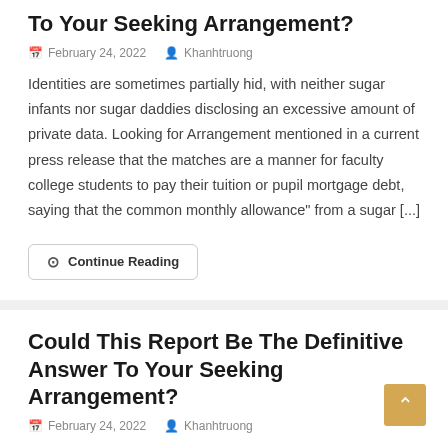To Your Seeking Arrangement?
February 24, 2022   Khanhtruong
Identities are sometimes partially hid, with neither sugar infants nor sugar daddies disclosing an excessive amount of private data. Looking for Arrangement mentioned in a current press release that the matches are a manner for faculty college students to pay their tuition or pupil mortgage debt, saying that the common monthly allowance" from a sugar [...]
Continue Reading
Could This Report Be The Definitive Answer To Your Seeking Arrangement?
February 24, 2022   Khanhtruong